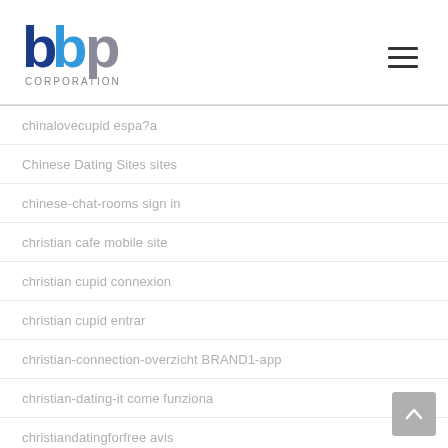[Figure (logo): BBP Corporation logo — stylized blue and grey letters 'bbp' above text 'CORPORATION']
chinalovecupid espa?a
Chinese Dating Sites sites
chinese-chat-rooms sign in
christian cafe mobile site
christian cupid connexion
christian cupid entrar
christian-connection-overzicht BRAND1-app
christian-dating-it come funziona
christiandatingforfree avis
christiandatingforfree gratis